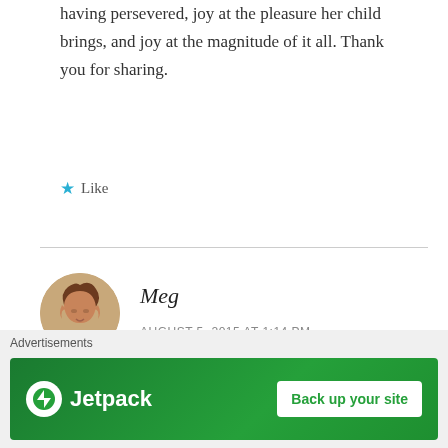having persevered, joy at the pleasure her child brings, and joy at the magnitude of it all. Thank you for sharing.
Like
Meg
AUGUST 5, 2015 AT 1:14 PM
Ali! Thank you, thank you. ❤ Your words mean so much to me.
[Figure (photo): Circular avatar photo of a woman with curly brown hair, smiling, wearing an orange/red top]
Advertisements
[Figure (infographic): Jetpack advertisement banner with green background, Jetpack logo on left and 'Back up your site' button on right]